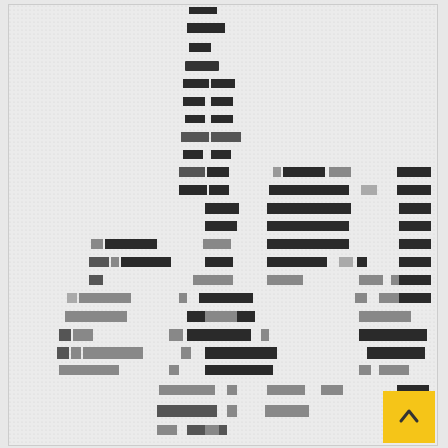[Figure (other): A dense document or table page rendered as a pixel/bitmap pattern. Rows of dark rectangular blocks (text lines or table cells) on a light dotted/halftone background. The pattern suggests a multi-column table or form with many rows of data. A yellow scroll-to-top button with a caret/chevron up symbol is overlaid at the bottom-right corner.]